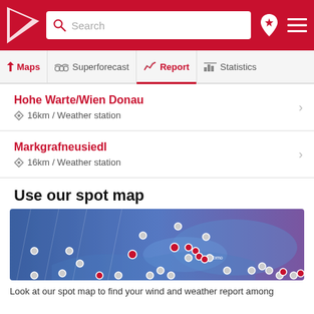Search
Maps | Superforecast | Report | Statistics
Hohe Warte/Wien Donau
16km / Weather station
Markgrafneusiedl
16km / Weather station
Use our spot map
[Figure (map): Spot map showing weather stations across a region with red and grey markers on a blue-purple background]
Look at our spot map to find your wind and weather report among